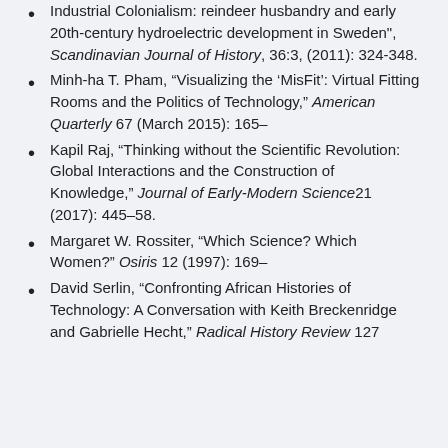Industrial Colonialism: reindeer husbandry and early 20th-century hydroelectric development in Sweden", Scandinavian Journal of History, 36:3, (2011): 324-348.
Minh-ha T. Pham, “Visualizing the ‘MisFit’: Virtual Fitting Rooms and the Politics of Technology,” American Quarterly 67 (March 2015): 165–
Kapil Raj, “Thinking without the Scientific Revolution: Global Interactions and the Construction of Knowledge,” Journal of Early-Modern Science21 (2017): 445–58.
Margaret W. Rossiter, “Which Science? Which Women?” Osiris 12 (1997): 169–
David Serlin, “Confronting African Histories of Technology: A Conversation with Keith Breckenridge and Gabrielle Hecht,” Radical History Review 127